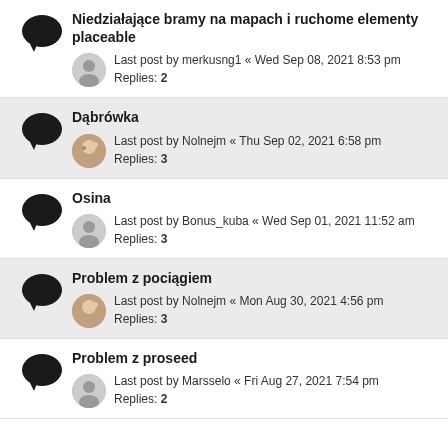Niedziałające bramy na mapach i ruchome elementy placeable
Last post by merkusng1 « Wed Sep 08, 2021 8:53 pm
Replies: 2
Dąbrówka
Last post by Nolnejm « Thu Sep 02, 2021 6:58 pm
Replies: 3
Osina
Last post by Bonus_kuba « Wed Sep 01, 2021 11:52 am
Replies: 3
Problem z pociągiem
Last post by Nolnejm « Mon Aug 30, 2021 4:56 pm
Replies: 3
Problem z proseed
Last post by Marsselo « Fri Aug 27, 2021 7:54 pm
Replies: 2